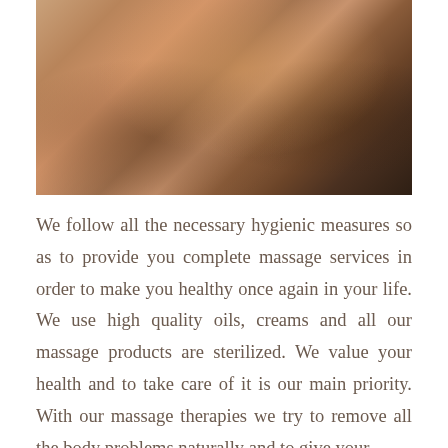[Figure (photo): A shirtless athletic man lying down, photographed from above, wearing a watch on his right wrist, with a dark blurred background]
We follow all the necessary hygienic measures so as to provide you complete massage services in order to make you healthy once again in your life. We use high quality oils, creams and all our massage products are sterilized. We value your health and to take care of it is our main priority. With our massage therapies we try to remove all the body problems naturally and to give your